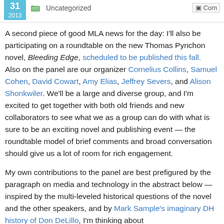31 2013 | Uncategorized | Com...
A second piece of good MLA news for the day: I'll also be participating on a roundtable on the new Thomas Pynchon novel, Bleeding Edge, scheduled to be published this fall.  Also on the panel are our organizer Cornelius Collins, Samuel Cohen, David Cowart, Amy Elias, Jeffrey Severs, and Alison Shonkwiler. We'll be a large and diverse group, and I'm excited to get together with both old friends and new collaborators to see what we as a group can do with what is sure to be an exciting novel and publishing event — the roundtable model of brief comments and broad conversation should give us a lot of room for rich engagement.
My own contributions to the panel are best prefigured by the paragraph on media and technology in the abstract below — inspired by the multi-leveled historical questions of the novel and the other speakers, and by Mark Sample's imaginary DH history of Don DeLillo, I'm thinking about